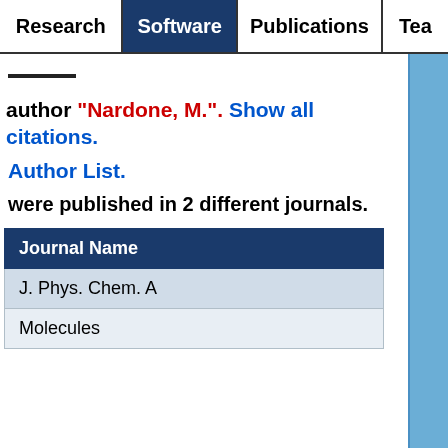Research | Software | Publications | Tea...
author "Nardone, M.". Show all citations.
Author List.
were published in 2 different journals.
| Journal Name |
| --- |
| J. Phys. Chem. A |
| Molecules |